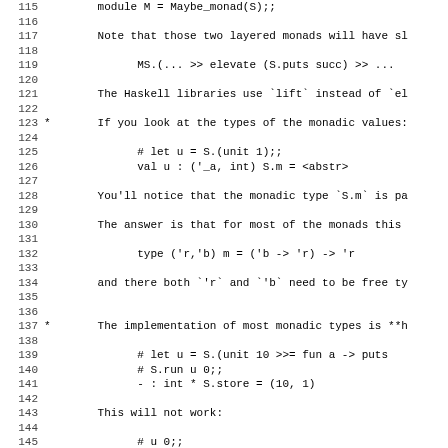Code listing lines 115-147 showing OCaml monad tutorial with line numbers
123 * If you look at the types of the monadic values:
137 * The implementation of most monadic types is **h